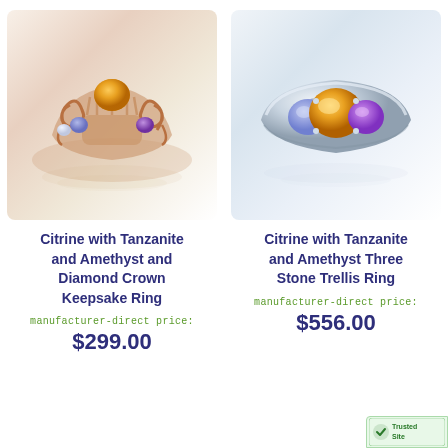[Figure (photo): Rose gold crown keepsake ring with citrine center stone, tanzanite and amethyst accent stones, and diamond, ornate filigree design]
Citrine with Tanzanite and Amethyst and Diamond Crown Keepsake Ring
manufacturer-direct price:
$299.00
[Figure (photo): Silver three stone trellis ring with large citrine center stone, tanzanite and amethyst accent stones]
Citrine with Tanzanite and Amethyst Three Stone Trellis Ring
manufacturer-direct price:
$556.00
[Figure (logo): TrustedSite badge in bottom right corner]